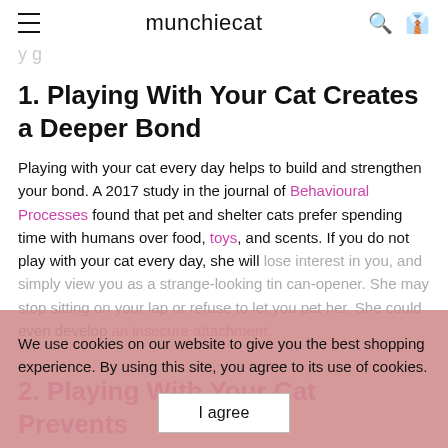munchiecat
y g
1. Playing With Your Cat Creates a Deeper Bond
Playing with your cat every day helps to build and strengthen your bond. A 2017 study in the journal of Behavioural Processes found that pet and shelter cats prefer spending time with humans over food, toys, and scents. If you do not play with your cat every day, she will lose interest in you, and simply view you as a strange-looking tin can-opener. She may stop sitting on your lap or refuse to let you pet her. She could even develop an insecure attachment.
We use cookies on our website to give you the best shopping experience. By using this site, you agree to its use of cookies.
2. Playing With Your Cat Prevents